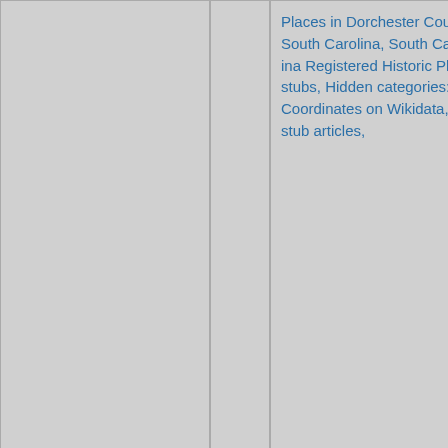Places in Dorchester County, South Carolina, South Carolina Registered Historic Place stubs, Hidden categories:, Coordinates on Wikidata, All stub articles,
87: 218.4mi
Old Berkeley County Courthouse (South Carolina)
Historic district contributing properties in South Carolina, County courthouses in South Carolina, Courthouses on the...
[Figure (photo): Photograph of the Old Berkeley County Courthouse, a white two-story classical building with columns, with a black SUV parked in front and trees in background]